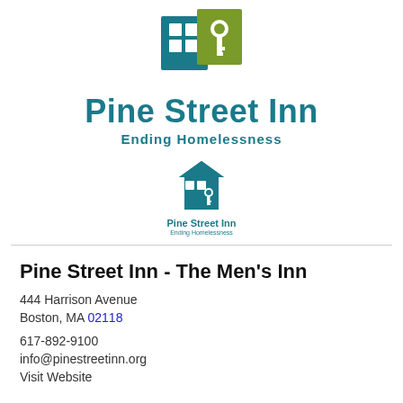[Figure (logo): Pine Street Inn large logo with building/key icon in teal and olive colors, text 'Pine Street Inn' in teal, tagline 'Ending Homelessness']
[Figure (logo): Pine Street Inn small logo with house/key icon in teal, text 'Pine Street Inn' and 'Ending Homelessness' below]
Pine Street Inn - The Men's Inn
444 Harrison Avenue
Boston, MA 02118
617-892-9100
info@pinestreetinn.org
Visit Website